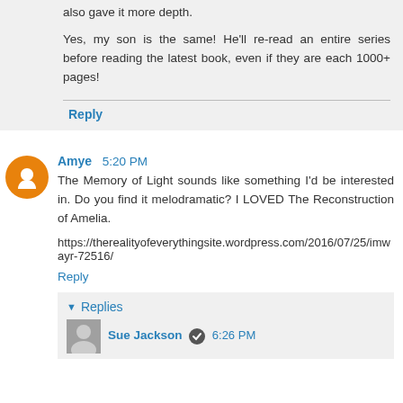also gave it more depth.
Yes, my son is the same! He'll re-read an entire series before reading the latest book, even if they are each 1000+ pages!
Reply
Amye  5:20 PM
The Memory of Light sounds like something I'd be interested in. Do you find it melodramatic? I LOVED The Reconstruction of Amelia.
https://therealityofeverythingsite.wordpress.com/2016/07/25/imwayr-72516/
Reply
Replies
Sue Jackson  6:26 PM